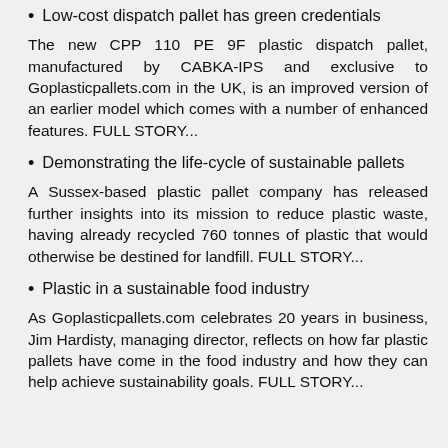Low-cost dispatch pallet has green credentials
The new CPP 110 PE 9F plastic dispatch pallet, manufactured by CABKA-IPS and exclusive to Goplasticpallets.com in the UK, is an improved version of an earlier model which comes with a number of enhanced features. FULL STORY...
Demonstrating the life-cycle of sustainable pallets
A Sussex-based plastic pallet company has released further insights into its mission to reduce plastic waste, having already recycled 760 tonnes of plastic that would otherwise be destined for landfill. FULL STORY...
Plastic in a sustainable food industry
As Goplasticpallets.com celebrates 20 years in business, Jim Hardisty, managing director, reflects on how far plastic pallets have come in the food industry and how they can help achieve sustainability goals. FULL STORY...